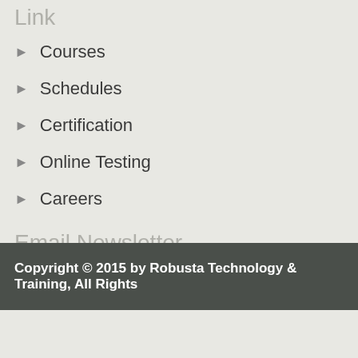Link
Courses
Schedules
Certification
Online Testing
Careers
Email Newsletter
Nhập email để nhận thông tin
Send
Copyright © 2015 by Robusta Technology & Training, All Rights